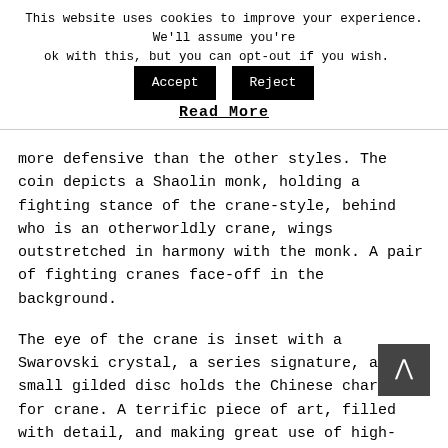This website uses cookies to improve your experience. We'll assume you're ok with this, but you can opt-out if you wish.  [Accept]  [Reject]
Read More
more defensive than the other styles. The coin depicts a Shaolin monk, holding a fighting stance of the crane-style, behind who is an otherworldly crane, wings outstretched in harmony with the monk. A pair of fighting cranes face-off in the background.
The eye of the crane is inset with a Swarovski crystal, a series signature, and a small gilded disc holds the Chinese character for crane. A terrific piece of art, filled with detail, and making great use of high-relief to accentuate depth. The obverse, common to the series, depicts the five animals together against a view of a Chinese temple. The whole two-ounce coin is antique finished, and comes boxed with a certificate of